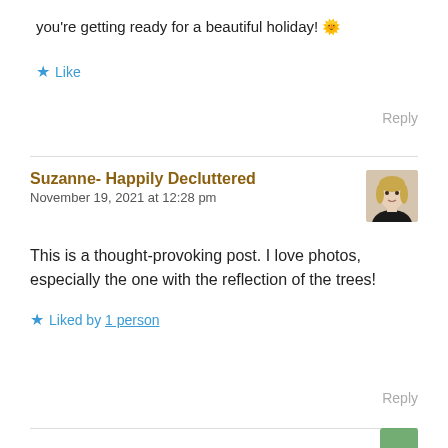you're getting ready for a beautiful holiday! 🌞
★ Like
Reply
Suzanne- Happily Decluttered
November 19, 2021 at 12:28 pm
[Figure (photo): Avatar photo of Suzanne, a woman with blonde hair wearing a black top]
This is a thought-provoking post. I love photos, especially the one with the reflection of the trees!
★ Liked by 1 person
Reply